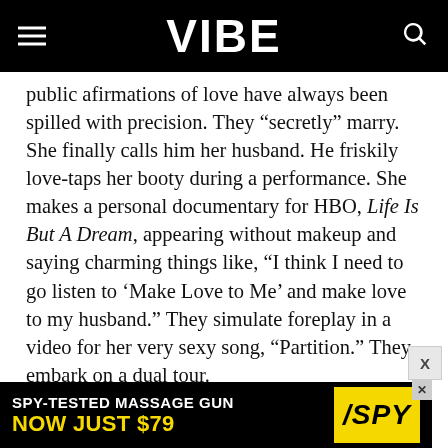VIBE
public afirmations of love have always been spilled with precision. They “secretly” marry. She finally calls him her husband. He friskily love-taps her booty during a performance. She makes a personal documentary for HBO, Life Is But A Dream, appearing without makeup and saying charming things like, “I think I need to go listen to ‘Make Love to Me’ and make love to my husband.” They simulate foreplay in a video for her very sexy song, “Partition.” They embark on a dual tour.
It’s a controlled message, of course. But On the Run represents a peak PDA moment for the
[Figure (other): Advertisement banner: SPY-TESTED MASSAGE GUN NOW JUST $79 with SPY logo in yellow]